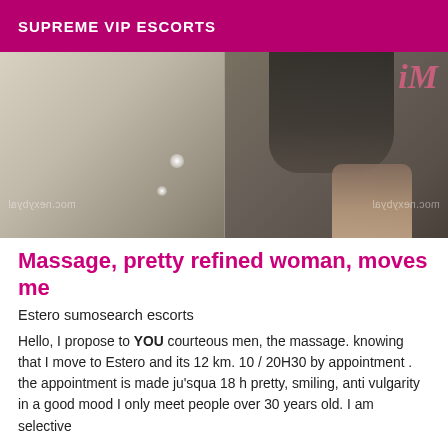SUPREME VIP ESCORTS
[Figure (photo): Photo showing a woman's legs and high-heeled shoes, with watermark text and a pink 'iM' logo overlay]
Massage, pretty refined woman, moves me
Estero sumosearch escorts
Hello, I propose to YOU courteous men, the massage. knowing that I move to Estero and its 12 km. 10 / 20H30 by appointment . the appointment is made ju'squa 18 h pretty, smiling, anti vulgarity in a good mood I only meet people over 30 years old. I am selective